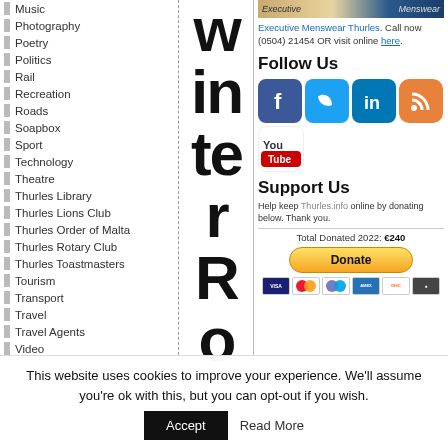Music
Photography
Poetry
Politics
Rail
Recreation
Roads
Soapbox
Sport
Technology
Theatre
Thurles Library
Thurles Lions Club
Thurles Order of Malta
Thurles Rotary Club
Thurles Toastmasters
Tourism
Transport
Travel
Travel Agents
Video
[Figure (other): Large vertical text reading 're–winte r Ros' in bold black]
[Figure (other): Executive Menswear Thurles banner ad with social media icons (Facebook, Twitter, LinkedIn, RSS, YouTube), Support Us donation section with PayPal Donate button and payment icons]
This website uses cookies to improve your experience. We'll assume you're ok with this, but you can opt-out if you wish.
Accept  Read More